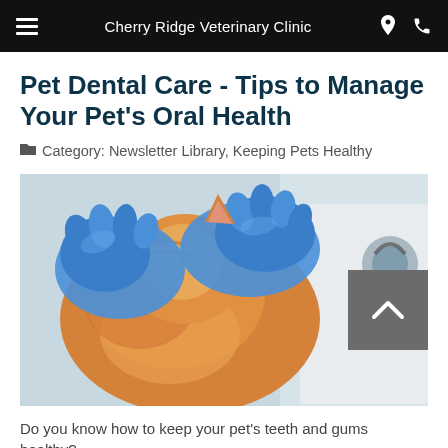Cherry Ridge Veterinary Clinic
Pet Dental Care - Tips to Manage Your Pet's Oral Health
Category: Newsletter Library, Keeping Pets Healthy
[Figure (photo): Veterinarian wearing blue gloves examining a cat's teeth, stethoscope visible in background]
Do you know how to keep your pet's teeth and gums healthy?
READ MORE